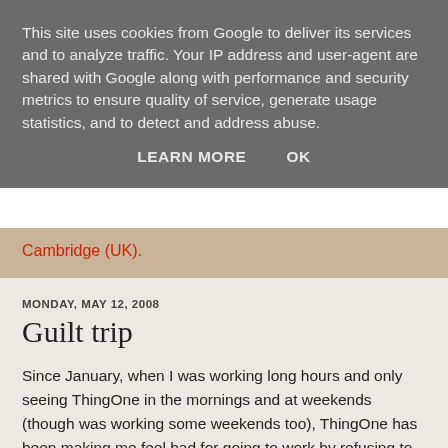This site uses cookies from Google to deliver its services and to analyze traffic. Your IP address and user-agent are shared with Google along with performance and security metrics to ensure quality of service, generate usage statistics, and to detect and address abuse.
LEARN MORE   OK
Cambridge (UK).
MONDAY, MAY 12, 2008
Guilt trip
Since January, when I was working long hours and only seeing ThingOne in the mornings and at weekends (though was working some weekends too), ThingOne has been making me feel bad for going to work by refusing to say goodbye to me in the morning. She wouldn't get too upset, just wouldn't say goodbye. She then expanded this to goodbyes in general and wouldn't say goodbye to visiting family either.